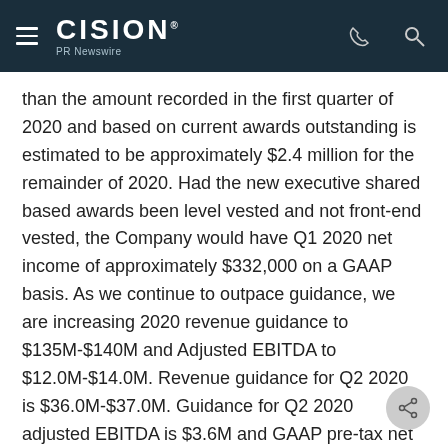CISION PR Newswire
than the amount recorded in the first quarter of 2020 and based on current awards outstanding is estimated to be approximately $2.4 million for the remainder of 2020. Had the new executive shared based awards been level vested and not front-end vested, the Company would have Q1 2020 net income of approximately $332,000 on a GAAP basis. As we continue to outpace guidance, we are increasing 2020 revenue guidance to $135M-$140M and Adjusted EBITDA to $12.0M-$14.0M. Revenue guidance for Q2 2020 is $36.0M-$37.0M. Guidance for Q2 2020 adjusted EBITDA is $3.6M and GAAP pre-tax net income is $2.1M.